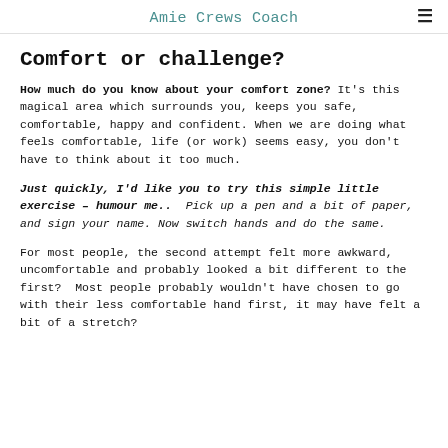Amie Crews Coach
Comfort or challenge?
How much do you know about your comfort zone? It's this magical area which surrounds you, keeps you safe, comfortable, happy and confident. When we are doing what feels comfortable, life (or work) seems easy, you don't have to think about it too much.
Just quickly, I'd like you to try this simple little exercise – humour me..  Pick up a pen and a bit of paper, and sign your name. Now switch hands and do the same.
For most people, the second attempt felt more awkward, uncomfortable and probably looked a bit different to the first?  Most people probably wouldn't have chosen to go with their less comfortable hand first, it may have felt a bit of a stretch?